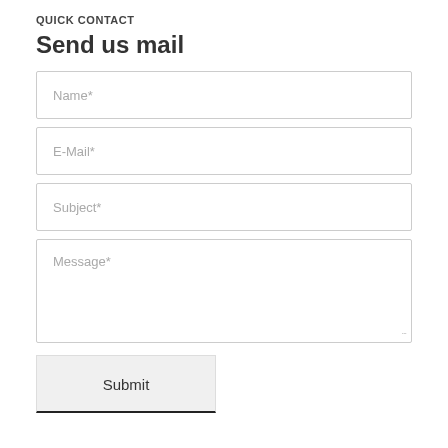QUICK CONTACT
Send us mail
Name*
E-Mail*
Subject*
Message*
Submit